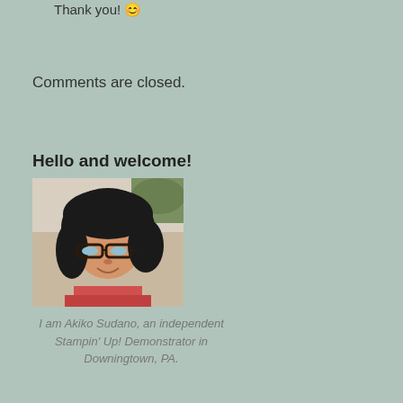Thank you! 😊
Comments are closed.
Hello and welcome!
[Figure (photo): Portrait photo of Akiko Sudano, a woman with short dark hair and glasses, wearing a pink top, smiling.]
I am Akiko Sudano, an independent Stampin' Up! Demonstrator in Downingtown, PA.